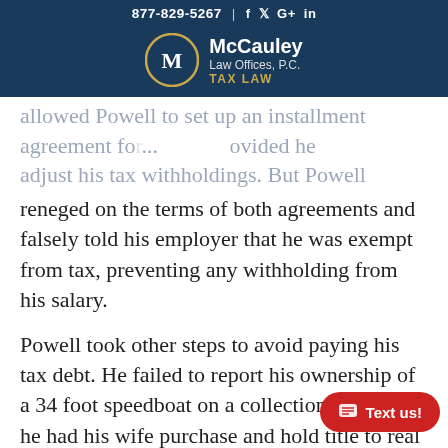877-829-5267 | f  y  G+  in
[Figure (logo): McCauley Law Offices, P.C. TAX LAW logo with circular M emblem on dark blue background]
allowed Powell to set up an installment agreement for...ovided he adjust his tax withholdings. But Powell reneged on the terms of both agreements and falsely told his employer that he was exempt from tax, preventing any withholding from his salary.
Powell took other steps to avoid paying his tax debt. He failed to report his ownership of a 34 foot speedboat on a collection statement, he had his wife purchase and hold title to real property as a nominee in order to obstruct collection effo... convinced another person to take nominal